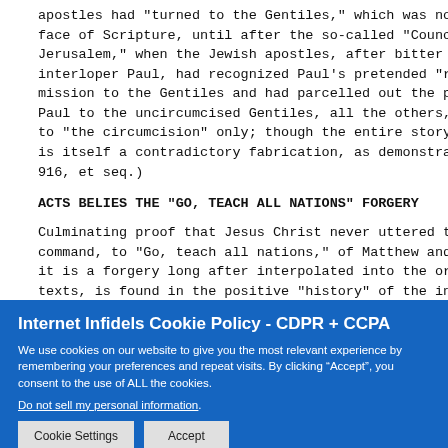apostles had "turned to the Gentiles," which was not, even on the face of Scripture, until after the so-called "Council of Jerusalem," when the Jewish apostles, after bitter quarreling with interloper Paul, had recognized Paul's pretended "revelation" of mission to the Gentiles and had parcelled out the propaganda, Paul to the uncircumcised Gentiles, all the others, Peter, etc., to "the circumcision" only; though the entire story of the Council is itself a contradictory fabrication, as demonstrated by FA pp. 916, et seq.)
ACTS BELIES THE "GO, TEACH ALL NATIONS" FORGERY
Culminating proof that Jesus Christ never uttered this command, to "Go, teach all nations," of Matthew and Mark, that it is a forgery long after interpolated into the original texts, is found in the positive "history" of the inspired
Internet Infidels Cookie Policy - CDPR + CCPA

We use cookies on our website to give you the most relevant experience by remembering your preferences and repeat visits. By clicking “Accept”, you consent to the use of ALL the cookies.

Do not sell my personal information.

Cookie Settings   Accept